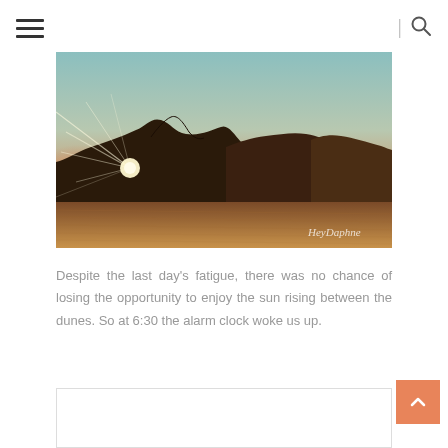☰ | 🔍
[Figure (photo): Desert sunset landscape with sun rising/setting between sand dunes, warm orange and teal sky. Watermark 'HeyDaphne' in lower right corner.]
Despite the last day's fatigue, there was no chance of losing the opportunity to enjoy the sun rising between the dunes. So at 6:30 the alarm clock woke us up.